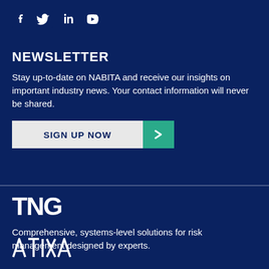[Figure (logo): Social media icons: Facebook, Twitter, LinkedIn, YouTube]
NEWSLETTER
Stay up-to-date on NABITA and receive our insights on important industry news. Your contact information will never be shared.
[Figure (other): SIGN UP NOW button with teal arrow chevron]
[Figure (logo): TNG logo]
Comprehensive, systems-level solutions for risk management designed by experts.
[Figure (logo): ATIXA logo]